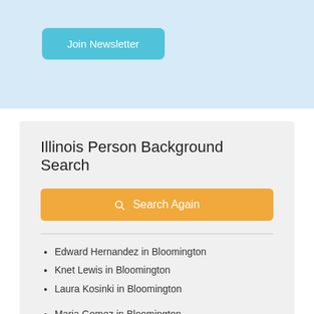Join Newsletter
Illinois Person Background Search
Search Again
Edward Hernandez in Bloomington
Knet Lewis in Bloomington
Laura Kosinki in Bloomington
Maria Gomez in Bloomington
Teresa Vollmer in Lexington
John Farmer in Bloomington
Steven Clugston in Bloomington
Kevin Hand in Normal